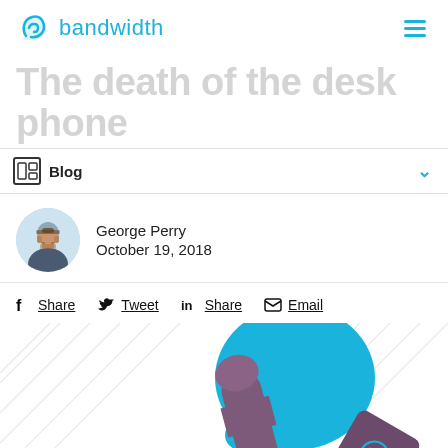bandwidth
The death of the desk phone
Blog
George Perry
October 19, 2018
Share  Tweet  Share  Email
[Figure (illustration): Illustration of a desk phone handset with a skull and crossbones, and blue bubble shapes, on a white background with diagonal line pattern]